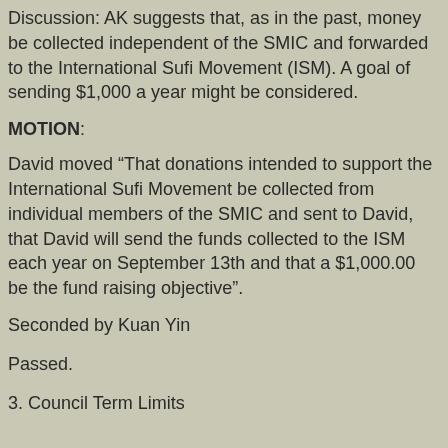Discussion: AK suggests that, as in the past, money be collected independent of the SMIC and forwarded to the International Sufi Movement (ISM). A goal of sending $1,000 a year might be considered.
MOTION:
David moved “That donations intended to support the International Sufi Movement be collected from individual members of the SMIC and sent to David, that David will send the funds collected to the ISM each year on September 13th and that a $1,000.00 be the fund raising objective”.
Seconded by Kuan Yin
Passed.
3. Council Term Limits